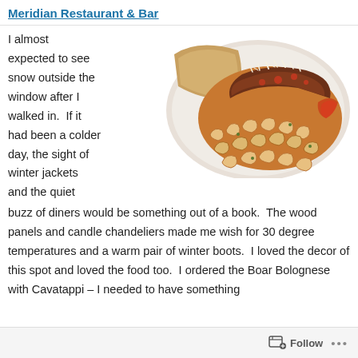Meridian Restaurant & Bar
[Figure (photo): A white plate with macaroni cavatappi pasta bolognese topped with meat sauce and grated cheese, with a slice of bread on the side.]
I almost expected to see snow outside the window after I walked in.  If it had been a colder day, the sight of winter jackets and the quiet buzz of diners would be something out of a book.  The wood panels and candle chandeliers made me wish for 30 degree temperatures and a warm pair of winter boots.  I loved the decor of this spot and loved the food too.  I ordered the Boar Bolognese with Cavatappi – I needed to have something
Follow ...